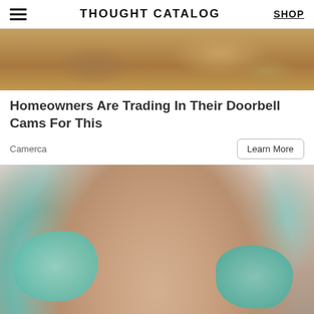THOUGHT CATALOG | SHOP
[Figure (photo): Top portion of bread/food image (cropped at top)]
Homeowners Are Trading In Their Doorbell Cams For This
Camerca
[Figure (photo): Young smiling woman in dental chair being examined by dentist wearing teal/mint latex gloves]
[Figure (infographic): Atkins advertisement banner: Discover a more flexible keto — LEARN MORE]